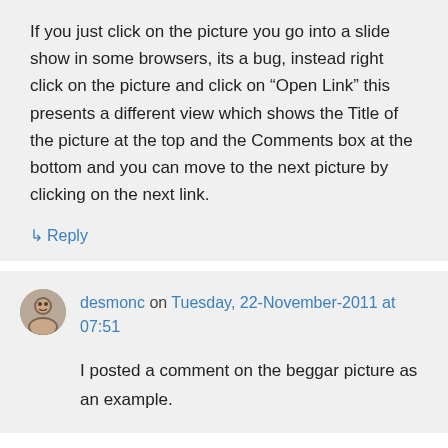If you just click on the picture you go into a slide show in some browsers, its a bug, instead right click on the picture and click on “Open Link” this presents a different view which shows the Title of the picture at the top and the Comments box at the bottom and you can move to the next picture by clicking on the next link.
↳ Reply
desmonc on Tuesday, 22-November-2011 at 07:51
I posted a comment on the beggar picture as an example.